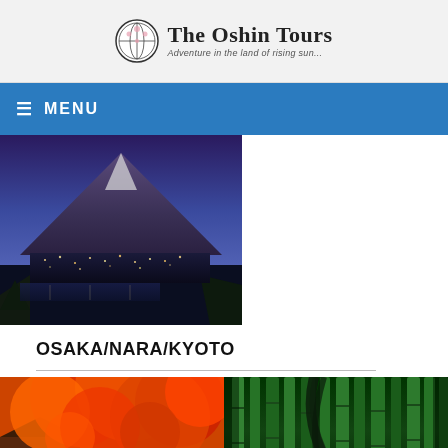The Oshin Tours — Adventure in the land of rising sun...
[Figure (logo): The Oshin Tours logo with circular globe/flower emblem and tagline 'Adventure in the land of rising sun...']
≡ MENU
[Figure (photo): Aerial night-time view of Mount Fuji with a city and lake below, lit up at dusk with purple-blue sky]
OSAKA/NARA/KYOTO
[Figure (photo): Japanese temple with vibrant orange and red autumn maple leaves in foreground, with crowd below]
[Figure (photo): Dense green bamboo forest with tall straight stalks and dark winding trees]